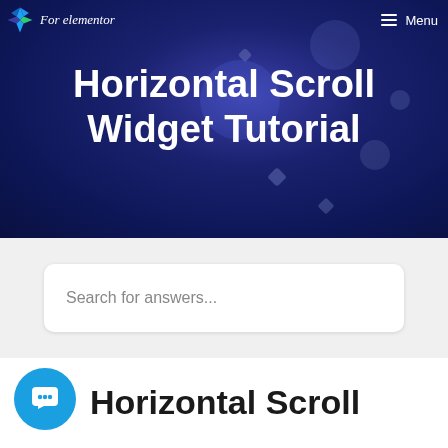[Figure (screenshot): Website hero banner with dark navy/blue radial gradient background and decorative bokeh light effects. Contains a logo with star icon and italic 'For elementor' text, a hamburger menu icon and 'Menu' text in top right.]
Horizontal Scroll Widget Tutorial
[Figure (other): Search input field with placeholder text 'Search for answers...' on a light gray background]
[Figure (other): Blue circular chat/messenger icon button]
Horizontal Scroll